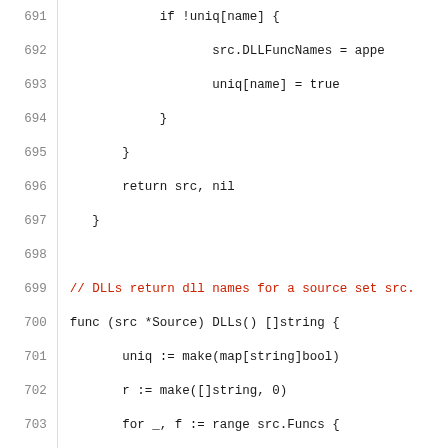691: if !uniq[name] {
692: src.DLLFuncNames = appe
693: uniq[name] = true
694: }
695: }
696: return src, nil
697: }
698: (blank)
699: // DLLs return dll names for a source set src.
700: func (src *Source) DLLs() []string {
701: uniq := make(map[string]bool)
702: r := make([]string, 0)
703: for _, f := range src.Funcs {
704: name := f.DLLName()
705: if _, found := uniq[name]; !fou
706: uniq[name] = true
707: r = append(r, name)
708: }
709: }
710: sort.Strings(r)
711: return r
712: }